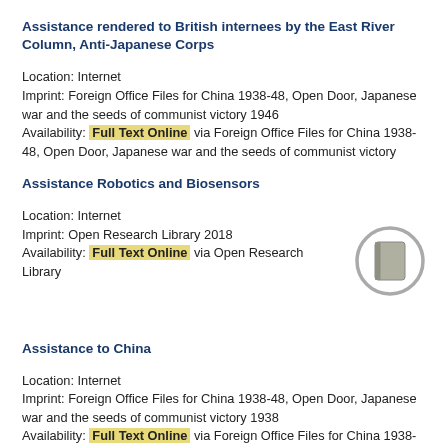Assistance rendered to British internees by the East River Column, Anti-Japanese Corps
Location: Internet
Imprint: Foreign Office Files for China 1938-48, Open Door, Japanese war and the seeds of communist victory 1946
Availability: Full Text Online via Foreign Office Files for China 1938-48, Open Door, Japanese war and the seeds of communist victory
Assistance Robotics and Biosensors
Location: Internet
Imprint: Open Research Library 2018
Availability: Full Text Online via Open Research Library
[Figure (illustration): Gray circle icon with a book/document symbol inside]
Assistance to China
Location: Internet
Imprint: Foreign Office Files for China 1938-48, Open Door, Japanese war and the seeds of communist victory 1938
Availability: Full Text Online via Foreign Office Files for China 1938-48, Open Door, Japanese war and the seeds of communist victory
Assistance to Civil Defense by Reserves: Hearing before a Subcommittee of the Committee on Armed Services, United States Senate, Eighty-Sixth Congress, Second Session on S. Res. 67, June 1, 1960
Location: Internet